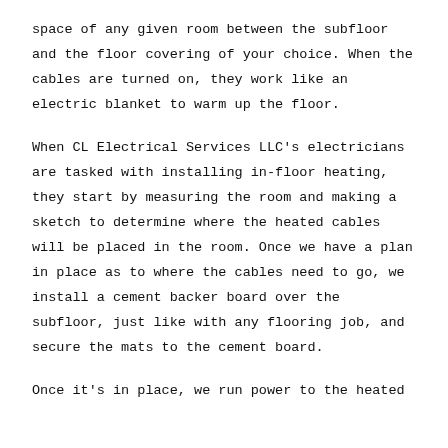space of any given room between the subfloor and the floor covering of your choice. When the cables are turned on, they work like an electric blanket to warm up the floor.
When CL Electrical Services LLC's electricians are tasked with installing in-floor heating, they start by measuring the room and making a sketch to determine where the heated cables will be placed in the room. Once we have a plan in place as to where the cables need to go, we install a cement backer board over the subfloor, just like with any flooring job, and secure the mats to the cement board.
Once it's in place, we run power to the heated